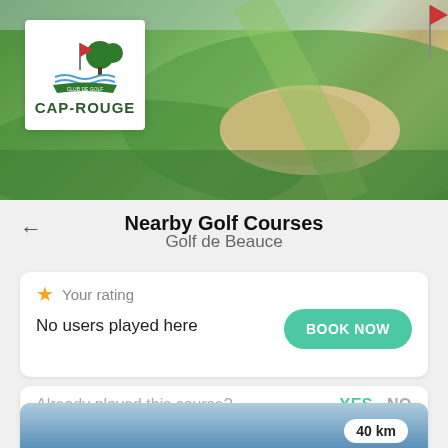[Figure (photo): Golf course hero image showing green fairway with sand bunker, and Cap-Rouge golf club logo in white box overlay]
Nearby Golf Courses
Golf de Beauce
★ Your rating
No users played here
BOOK NOW
Already played this course?
YES    NO
[Figure (screenshot): Bottom card showing distance badge with 40 km]